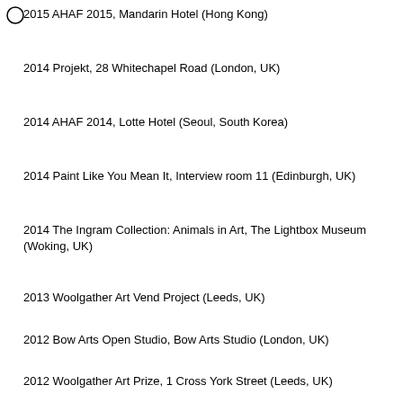2015 AHAF 2015, Mandarin Hotel (Hong Kong)
2014 Projekt, 28 Whitechapel Road (London, UK)
2014 AHAF 2014, Lotte Hotel (Seoul, South Korea)
2014 Paint Like You Mean It, Interview room 11 (Edinburgh, UK)
2014 The Ingram Collection: Animals in Art, The Lightbox Museum (Woking, UK)
2013 Woolgather Art Vend Project (Leeds, UK)
2012 Bow Arts Open Studio, Bow Arts Studio (London, UK)
2012 Woolgather Art Prize, 1 Cross York Street (Leeds, UK)